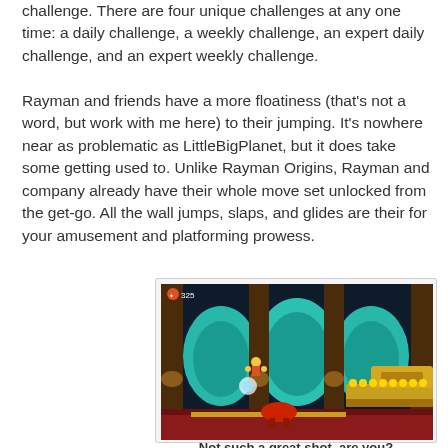challenge. There are four unique challenges at any one time: a daily challenge, a weekly challenge, an expert daily challenge, and an expert weekly challenge.
Rayman and friends have a more floatiness (that's not a word, but work with me here) to their jumping. It's nowhere near as problematic as LittleBigPlanet, but it does take some getting used to. Unlike Rayman Origins, Rayman and company already have their whole move set unlocked from the get-go. All the wall jumps, slaps, and glides are their for your amusement and platforming prowess.
[Figure (screenshot): Screenshot from a video game showing Rayman characters in a colorful platformer level with teal arches, brown pillars, golden platforms, and red ground.]
Not such a great shot, are you?